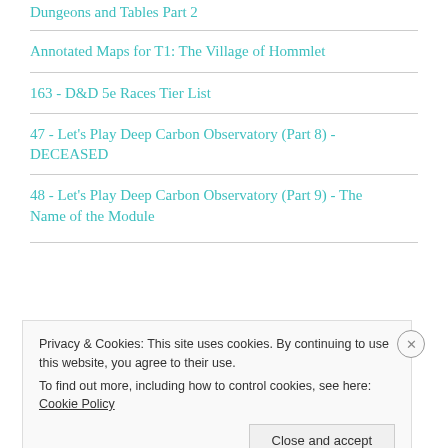Dungeons and Tables Part 2
Annotated Maps for T1: The Village of Hommlet
163 - D&D 5e Races Tier List
47 - Let's Play Deep Carbon Observatory (Part 8) - DECEASED
48 - Let's Play Deep Carbon Observatory (Part 9) - The Name of the Module
Privacy & Cookies: This site uses cookies. By continuing to use this website, you agree to their use. To find out more, including how to control cookies, see here: Cookie Policy